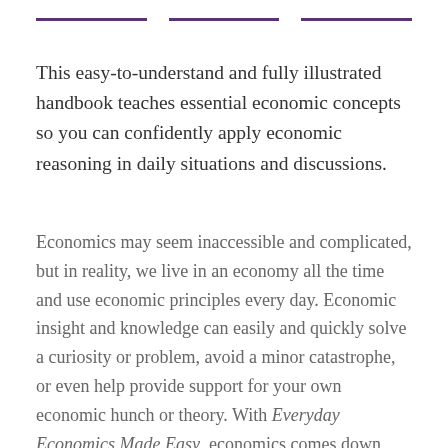— — —
This easy-to-understand and fully illustrated handbook teaches essential economic concepts so you can confidently apply economic reasoning in daily situations and discussions.
Economics may seem inaccessible and complicated, but in reality, we live in an economy all the time and use economic principles every day. Economic insight and knowledge can easily and quickly solve a curiosity or problem, avoid a minor catastrophe, or even help provide support for your own economic hunch or theory. With Everyday Economics Made Easy, economics comes down from the ivory tower